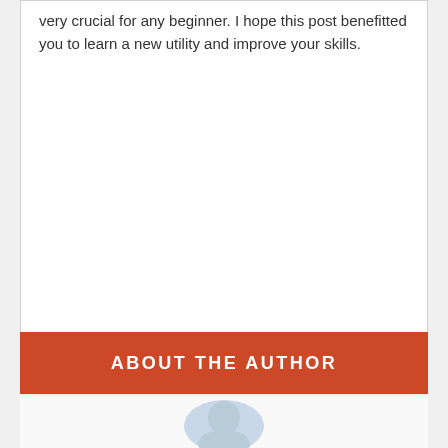very crucial for any beginner. I hope this post benefitted you to learn a new utility and improve your skills.
ABOUT THE AUTHOR
[Figure (illustration): Circular avatar placeholder image with light blue/grey tones representing an author profile picture]